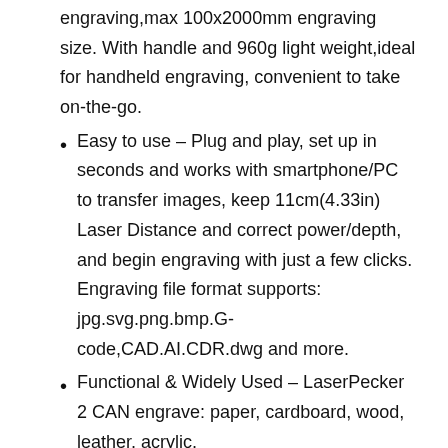engraving,max 100x2000mm engraving size. With handle and 960g light weight,ideal for handheld engraving, convenient to take on-the-go.
Easy to use – Plug and play, set up in seconds and works with smartphone/PC to transfer images, keep 11cm(4.33in) Laser Distance and correct power/depth, and begin engraving with just a few clicks. Engraving file format supports: jpg.svg.png.bmp.G-code,CAD.AI.CDR.dwg and more.
Functional & Widely Used – LaserPecker 2 CAN engrave: paper, cardboard, wood, leather, acrylic,